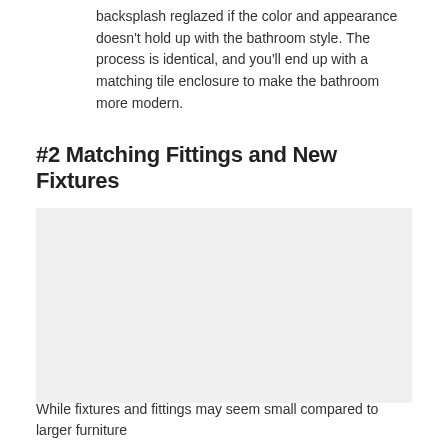Bathtub Tile Backsplash: As a bonus, you can also have the tile backsplash reglazed if the color and appearance doesn't hold up with the bathroom style. The process is identical, and you'll end up with a matching tile enclosure to make the bathroom more modern.
#2 Matching Fittings and New Fixtures
[Figure (photo): Image placeholder for matching fittings and new fixtures in a bathroom]
While fixtures and fittings may seem small compared to larger furniture